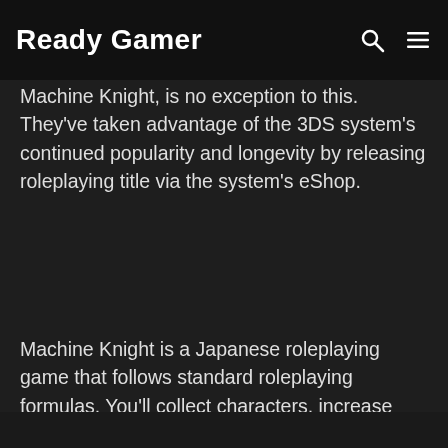Ready Gamer
Machine Knight, is no exception to this. They've taken advantage of the 3DS system's continued popularity and longevity by releasing roleplaying title via the system's eShop.
Machine Knight is a Japanese roleplaying game that follows standard roleplaying formulas. You'll collect characters, increase